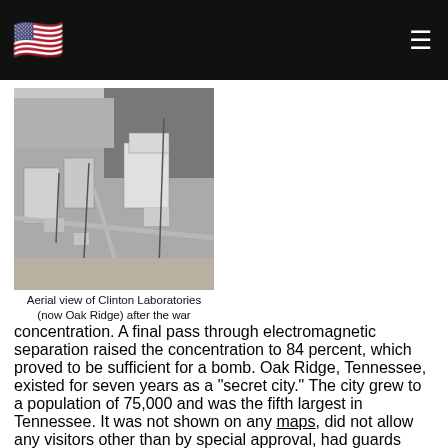🇺🇸 ☰
concentration. A final pass through electromagnetic separation raised the concentration to 84 percent, which proved to be sufficient for a bomb. Oak Ridge, Tennessee, existed for seven years as a "secret city." The city grew to a population of 75,000 and was the fifth largest in Tennessee. It was not shown on any maps, did not allow any visitors other than by special approval, had guards posted at the entrances, and required all residents to wear badges at all times when outside their homes. Today, Oak Ridge is a thriving community. The city is home to the Spallation Neutron Source, one of the largest basic science
[Figure (photo): Aerial black and white photograph of Clinton Laboratories (now Oak Ridge) after the war, showing buildings and roads from above.]
Aerial view of Clinton Laboratories (now Oak Ridge) after the war